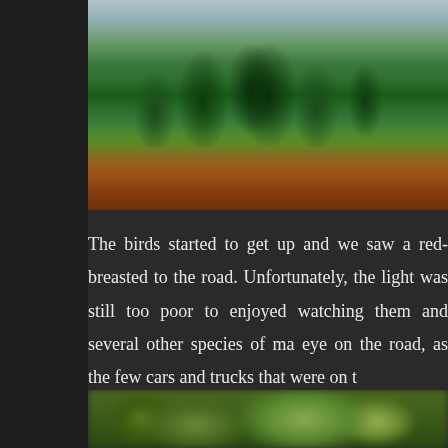[Figure (photo): Tropical forest scene with tall green trees lining a red dirt road, overcast sky above]
The birds started to get up and we saw a red-breasted to the road. Unfortunately, the light was still too poor to enjoyed watching them and several other species of ma eye on the road, as the few cars and trucks that were on t
[Figure (photo): Blurred close-up photograph of green foliage or vegetation]